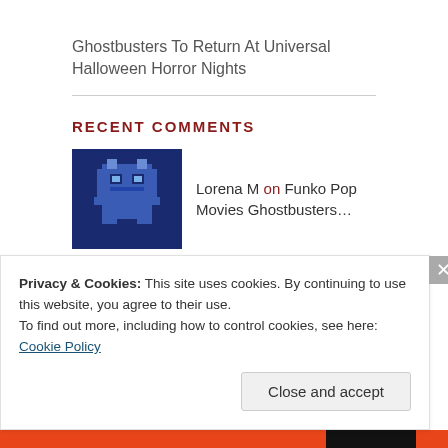Ghostbusters To Return At Universal Halloween Horror Nights
RECENT COMMENTS
Lorena M on Funko Pop Movies Ghostbusters...
CISSEN on Ghostbusters Operations Manual...
Spengs on Another Rare Ghostbusters Fan...
Privacy & Cookies: This site uses cookies. By continuing to use this website, you agree to their use.
To find out more, including how to control cookies, see here: Cookie Policy
Close and accept